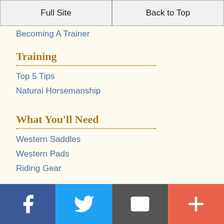Full Site | Back to Top
Becoming A Trainer
Training
Top 5 Tips
Natural Horsemanship
What You'll Need
Western Saddles
Western Pads
Riding Gear
Get In Touch
About Me
Contact Me
Massage Services
Facebook | Twitter | Email | Plus